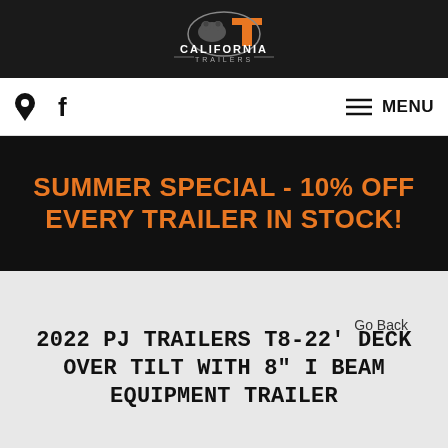[Figure (logo): California Trailers logo with bear and 'T' graphic, white text on dark background]
Location icon | Facebook icon | MENU
[Figure (infographic): Black banner with orange bold text: SUMMER SPECIAL - 10% OFF EVERY TRAILER IN STOCK!]
Go Back
2022 PJ TRAILERS T8-22' DECK OVER TILT WITH 8" I BEAM EQUIPMENT TRAILER